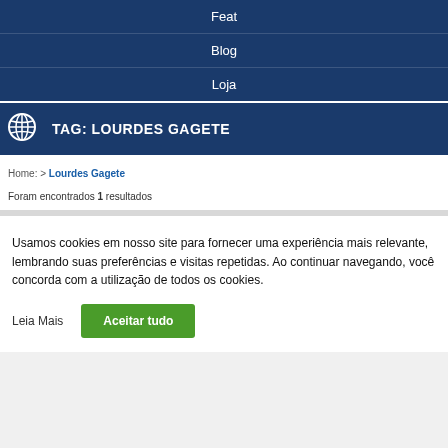Feat
Blog
Loja
TAG: LOURDES GAGETE
Home: > Lourdes Gagete
Foram encontrados 1 resultados
Usamos cookies em nosso site para fornecer uma experiência mais relevante, lembrando suas preferências e visitas repetidas. Ao continuar navegando, você concorda com a utilização de todos os cookies.
Leia Mais
Aceitar tudo